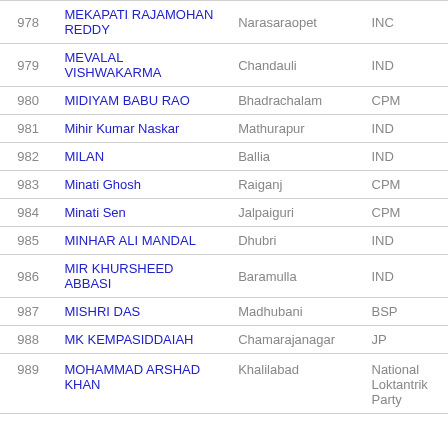| # | Name | Constituency | Party |
| --- | --- | --- | --- |
| 978 | MEKAPATI RAJAMOHAN REDDY | Narasaraopet | INC |
| 979 | MEVALAL VISHWAKARMA | Chandauli | IND |
| 980 | MIDIYAM BABU RAO | Bhadrachalam | CPM |
| 981 | Mihir Kumar Naskar | Mathurapur | IND |
| 982 | MILAN | Ballia | IND |
| 983 | Minati Ghosh | Raiganj | CPM |
| 984 | Minati Sen | Jalpaiguri | CPM |
| 985 | MINHAR ALI MANDAL | Dhubri | IND |
| 986 | MIR KHURSHEED ABBASI | Baramulla | IND |
| 987 | MISHRI DAS | Madhubani | BSP |
| 988 | MK KEMPASIDDAIAH | Chamarajanagar | JP |
| 989 | MOHAMMAD ARSHAD KHAN | Khalilabad | National Loktantrik Party |